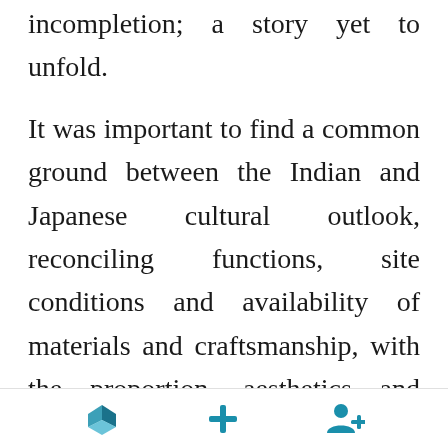incompletion; a story yet to unfold.
It was important to find a common ground between the Indian and Japanese cultural outlook, reconciling functions, site conditions and availability of materials and craftsmanship, with the proportion, aesthetics and essence of tea houses. We chose to import few elements – specifically the shōji paper and tatami mats – and procure the rest locally which became a fundamental
[navigation icons: home, add, add user]